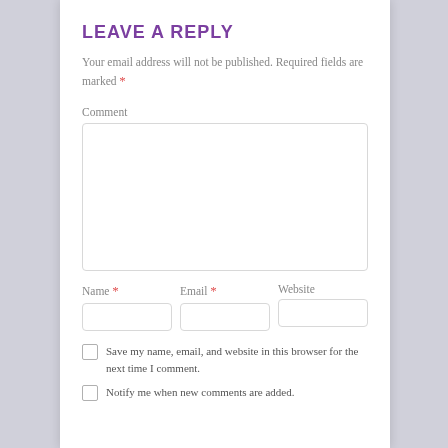LEAVE A REPLY
Your email address will not be published. Required fields are marked *
Comment
Name * Email * Website
Save my name, email, and website in this browser for the next time I comment.
Notify me when new comments are added.